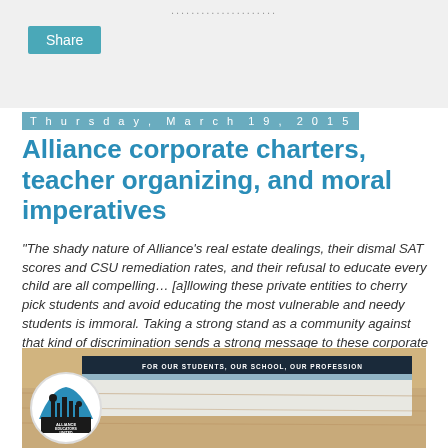Share
Thursday, March 19, 2015
Alliance corporate charters, teacher organizing, and moral imperatives
"The shady nature of Alliance's real estate dealings, their dismal SAT scores and CSU remediation rates, and their refusal to educate every child are all compelling… [a]llowing these private entities to cherry pick students and avoid educating the most vulnerable and needy students is immoral. Taking a strong stand as a community against that kind of discrimination sends a strong message to these corporate schools that we demand equity for all our students." — Robert D. Skeels
[Figure (photo): Photo showing Alliance Educators United logo (circular badge with city skyline silhouette) next to a document on a wooden surface, with text reading FOR OUR STUDENTS, OUR SCHOOL, OUR PROFESSION]